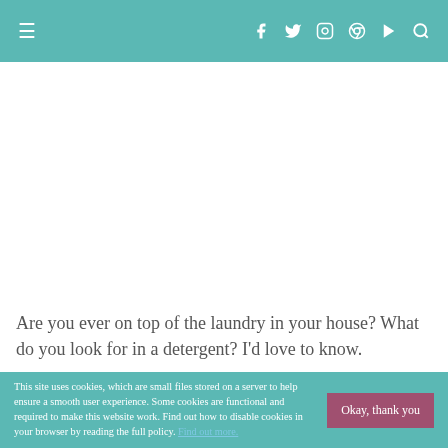≡  f  t  ☷  ⊕  ▶  🔍
Are you ever on top of the laundry in your house? What do you look for in a detergent? I'd love to know.
This site uses cookies, which are small files stored on a server to help ensure a smooth user experience. Some cookies are functional and required to make this website work. Find out how to disable cookies in your browser by reading the full policy. Find out more.